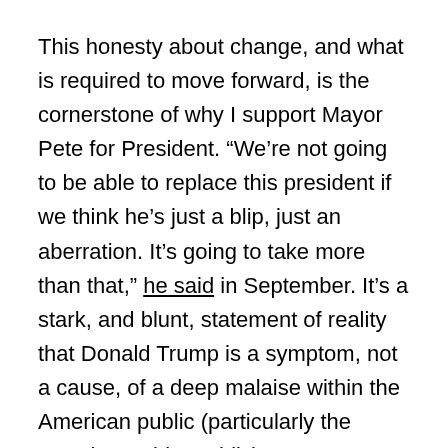This honesty about change, and what is required to move forward, is the cornerstone of why I support Mayor Pete for President. “We’re not going to be able to replace this president if we think he’s just a blip, just an aberration. It’s going to take more than that,” he said in September. It’s a stark, and blunt, statement of reality that Donald Trump is a symptom, not a cause, of a deep malaise within the American public (particularly the American white public).
This means healing the divisions in the country without sacrificing core progressive principles like racial equality, women’s rights, and an immigration system that welcomes rather than demonises